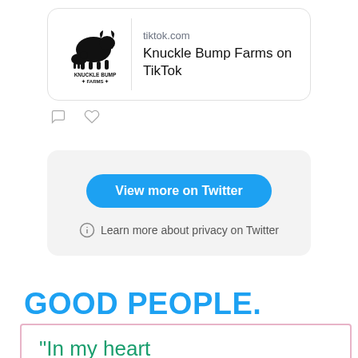[Figure (screenshot): TikTok link preview card showing Knuckle Bump Farms logo and text 'tiktok.com / Knuckle Bump Farms on TikTok', with comment and like icons below]
[Figure (screenshot): Twitter embedded tweet widget with 'View more on Twitter' blue button and 'Learn more about privacy on Twitter' info link]
GOOD PEOPLE. GOOD THINGS.
"In my heart